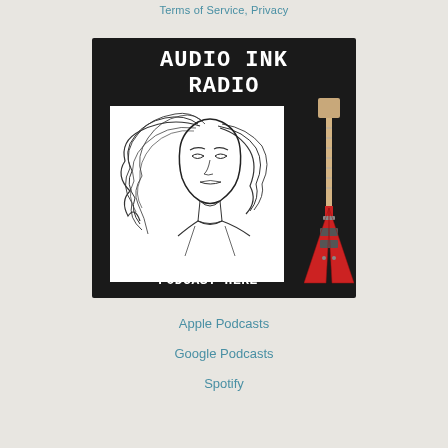Terms of Service, Privacy
[Figure (illustration): Audio Ink Radio podcast promotional image. Black background with white pixel-style text reading 'AUDIO INK RADIO' at top, a line-art illustration of a woman with flowing hair in a white box, a red electric guitar (Flying V style) on the right, and text at bottom reading 'SUBSCRIBE TO THE PODCAST HERE'.]
Apple Podcasts
Google Podcasts
Spotify